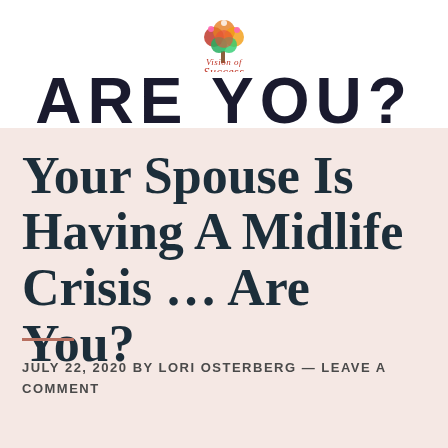[Figure (logo): Vision of Success logo with a colorful tree and script/serif text]
ARE YOU?
Your Spouse Is Having A Midlife Crisis … Are You?
JULY 22, 2020 BY LORI OSTERBERG — LEAVE A COMMENT